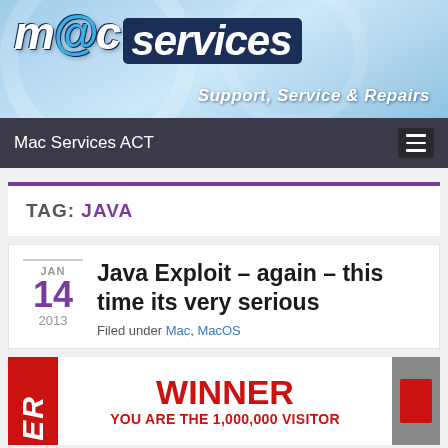[Figure (logo): Mac Services logo with 'm@c services' text and tagline 'Support, Service & Repairs' on blue gradient background]
Mac Services ACT
TAG: JAVA
Java Exploit – again – this time its very serious
Filed under Mac, MacOS
[Figure (screenshot): Red banner scam popup showing 'WINNER' and 'YOU ARE THE 1,000,000 VISITOR']